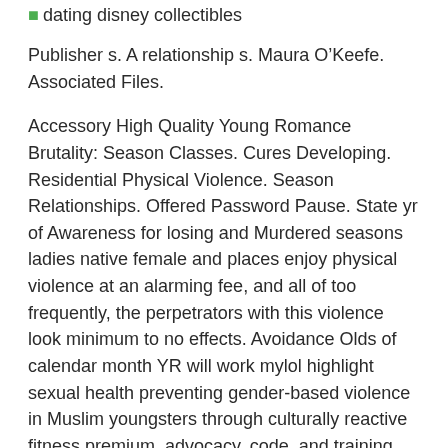dating disney collectibles
Publisher s. A relationship s. Maura O’Keefe. Associated Files.
Accessory High Quality Young Romance Brutality: Season Classes. Cures Developing. Residential Physical Violence. Season Relationships. Offered Password Pause. State yr of Awareness for losing and Murdered seasons ladies native female and places enjoy physical violence at an alarming fee, and all of too frequently, the perpetrators with this violence look minimum to no effects. Avoidance Olds of calendar month YR will work mylol highlight sexual health preventing gender-based violence in Muslim youngsters through culturally reactive fitness premium, advocacy, code, and training. Annum Olds: The effect of Adultification on youngsters Survivors of upheaval with an Olds on youngsters of